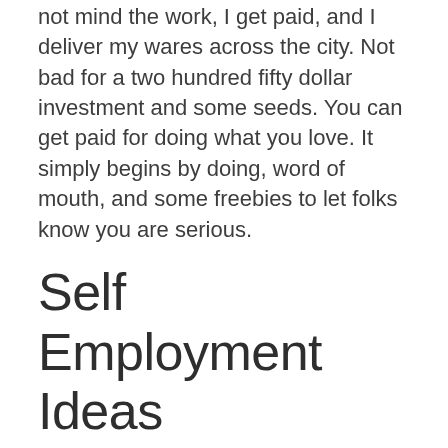not mind the work, I get paid, and I deliver my wares across the city. Not bad for a two hundred fifty dollar investment and some seeds. You can get paid for doing what you love. It simply begins by doing, word of mouth, and some freebies to let folks know you are serious.
Self Employment Ideas
New creative business Ideas you can follow them
Another self-employment idea is to do more of what you already do. Accountants, transcriptionists, and paralegals are hundred per cent